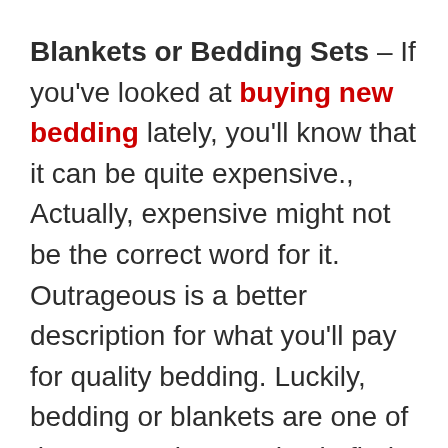Blankets or Bedding Sets – If you've looked at buying new bedding lately, you'll know that it can be quite expensive., Actually, expensive might not be the correct word for it. Outrageous is a better description for what you'll pay for quality bedding. Luckily, bedding or blankets are one of those must buy yard sale finds that you should almost always grab when you find it for cheap. Aside from being able to use them on your own bed, there are reasons why you should be storing blankets for emergencies.